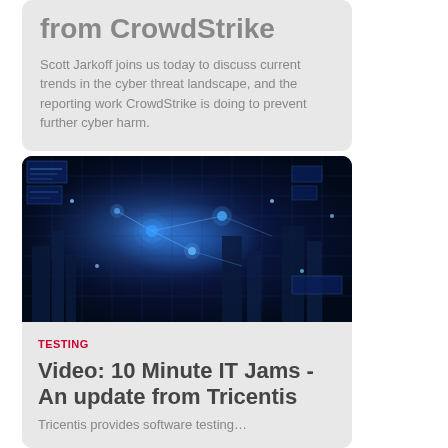from CrowdStrike
Scott Jarkoff joins us today to discuss current trends in the cyber threat landscape, and the reporting work CrowdStrike is doing to prevent further cyber harm.
[Figure (photo): Aerial view of a city at night with blue glowing digital network overlays, representing cybersecurity and technology infrastructure.]
TESTING
Video: 10 Minute IT Jams - An update from Tricentis
Tricentis provides software testing...